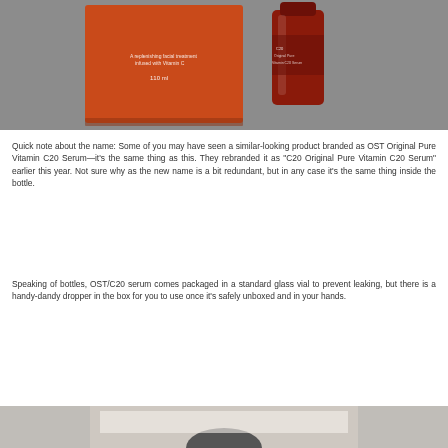[Figure (photo): Photo of orange/red product packaging box and glass bottle of OST/C20 Vitamin C serum on a grey background, viewed from above]
Quick note about the name: Some of you may have seen a similar-looking product branded as OST Original Pure Vitamin C20 Serum—it's the same thing as this. They rebranded it as "C20 Original Pure Vitamin C20 Serum" earlier this year. Not sure why as the new name is a bit redundant, but in any case it's the same thing inside the bottle.
Speaking of bottles, OST/C20 serum comes packaged in a standard glass vial to prevent leaking, but there is a handy-dandy dropper in the box for you to use once it's safely unboxed and in your hands.
[Figure (photo): Partial photo at bottom of page showing product packaging bottom portion]